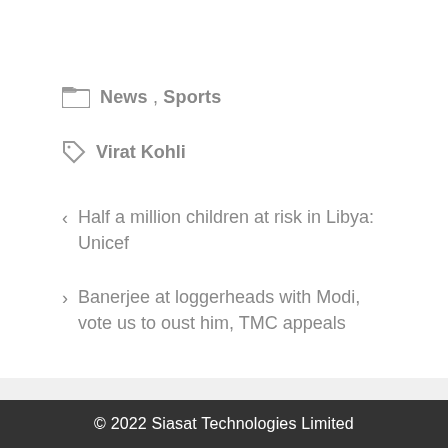News , Sports
Virat Kohli
< Half a million children at risk in Libya: Unicef
> Banerjee at loggerheads with Modi, vote us to oust him, TMC appeals
© 2022 Siasat Technologies Limited